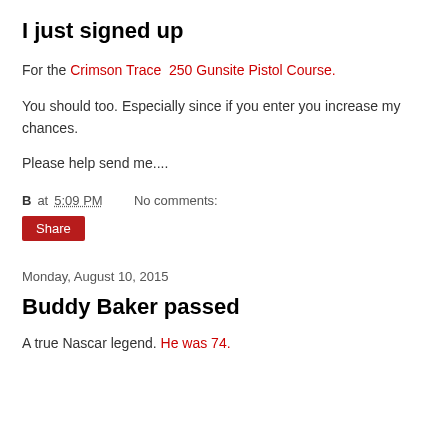I just signed up
For the Crimson Trace  250 Gunsite Pistol Course.
You should too. Especially since if you enter you increase my chances.
Please help send me....
B at 5:09 PM   No comments:
Share
Monday, August 10, 2015
Buddy Baker passed
A true Nascar legend. He was 74.